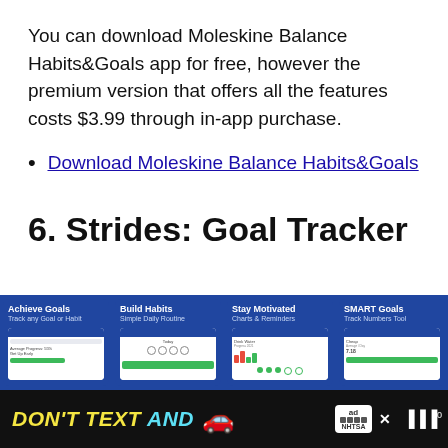You can download Moleskine Balance Habits&Goals app for free, however the premium version that offers all the features costs $3.99 through in-app purchase.
Download Moleskine Balance Habits&Goals
6. Strides: Goal Tracker
[Figure (screenshot): Four app screenshots showing Strides Goal Tracker app features: Achieve Goals (Track any Goal or Habit), Build Habits (Simple Daily Routine), Stay Motivated (Charts & Reminders), SMART Goals (Track Numbers Tool)]
[Figure (screenshot): Advertisement banner: DON'T TEXT AND [car emoji] with NHTSA ad badge and close button]